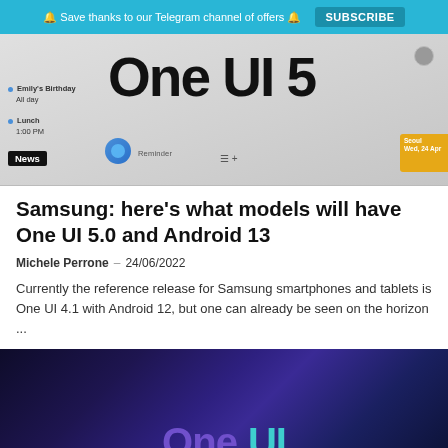🔔 Save thanks to our Telegram channel of offers 🔔  SUBSCRIBE
[Figure (screenshot): Screenshot of a Samsung One UI 5 interface showing calendar app with 'One UI 5' large text, Emily's Birthday all day event, Lunch event, Reminder toolbar, and a gold widget. News tag overlay in bottom left.]
Samsung: here's what models will have One UI 5.0 and Android 13
Michele Perrone – 24/06/2022
Currently the reference release for Samsung smartphones and tablets is One UI 4.1 with Android 12, but one can already be seen on the horizon ...
[Figure (screenshot): Dark blue/purple gradient background with 'One UI' text in purple and cyan gradient colors, representing the One UI logo/branding image.]